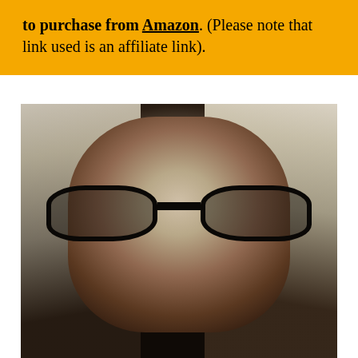to purchase from Amazon. (Please note that link used is an affiliate link).
[Figure (photo): Black and white close-up portrait of a woman with blonde hair and cat-eye glasses, looking slightly downward toward the camera.]